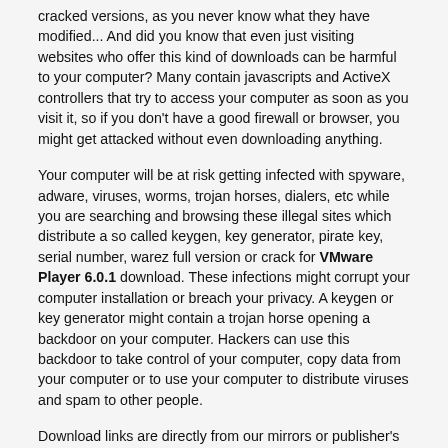cracked versions, as you never know what they have modified... And did you know that even just visiting websites who offer this kind of downloads can be harmful to your computer? Many contain javascripts and ActiveX controllers that try to access your computer as soon as you visit it, so if you don't have a good firewall or browser, you might get attacked without even downloading anything.
Your computer will be at risk getting infected with spyware, adware, viruses, worms, trojan horses, dialers, etc while you are searching and browsing these illegal sites which distribute a so called keygen, key generator, pirate key, serial number, warez full version or crack for VMware Player 6.0.1 download. These infections might corrupt your computer installation or breach your privacy. A keygen or key generator might contain a trojan horse opening a backdoor on your computer. Hackers can use this backdoor to take control of your computer, copy data from your computer or to use your computer to distribute viruses and spam to other people.
Download links are directly from our mirrors or publisher's website, VMware Player 6.0.1 torrent files or shared files from free file sharing and free upload services, including Rapidshare, HellShare, HotFile, FileServe, MegaUpload, YouSendIt, SendSpace, DepositFiles, Letitbit, MailBigFile, DropSend, MediaMax, LeapFile, zUpload, MyOtherDrive, DivShare or MediaFire, are not allowed!